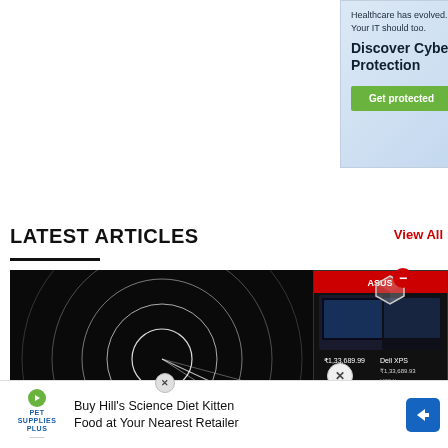[Figure (infographic): Healthcare cyber protection advertisement banner with blue gradient background, isometric server/medical icon illustration on right, tagline 'Healthcare has evolved. Your IT should too.', headline 'Discover Cyber Protection', and green 'Get protected' button.]
LATEST ARTICLES
View All
[Figure (photo): Dark circular spiral lines on black background, partially overlaid by a Dell gaming laptop advertisement and a Pet Supplies Plus kitten food advertisement at the bottom.]